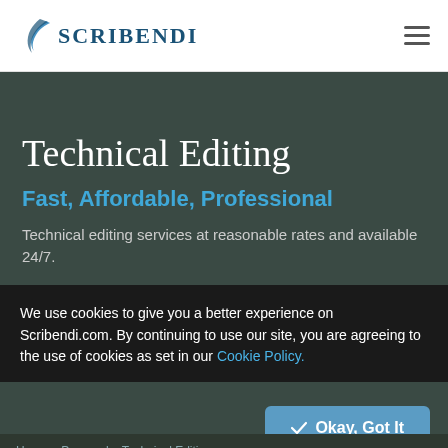[Figure (logo): Scribendi logo with feather/wave icon and uppercase serif text SCRIBENDI in dark blue]
Technical Editing
Fast, Affordable, Professional
Technical editing services at reasonable rates and available 24/7.
Order Now
We use cookies to give you a better experience on Scribendi.com. By continuing to use our site, you are agreeing to the use of cookies as set in our Cookie Policy.
Okay, Got It
Home   Personal   Technical Editi…